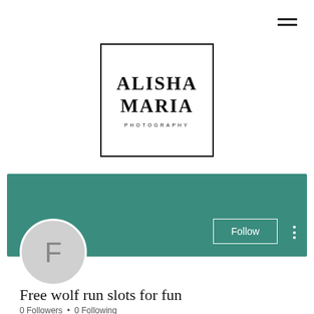[Figure (logo): Alisha Maria Photography logo — bold serif text 'ALISHA MARIA' with 'PHOTOGRAPHY' in small caps, inside a square border]
[Figure (screenshot): Teal/green profile banner with Follow button and three-dot menu]
[Figure (illustration): Gray circular avatar with letter F]
Free wolf run slots for fun
0 Followers • 0 Following